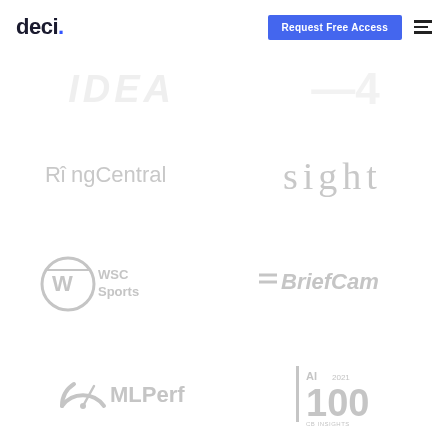deci. | Request Free Access
[Figure (logo): IDEA logo (partially visible, faded at top)]
[Figure (logo): RingCentral logo (gray)]
[Figure (logo): sight logo (gray, thin serif font)]
[Figure (logo): WSC Sports logo with circular W icon (gray)]
[Figure (logo): =BriefCam logo (gray, italic with double dash prefix)]
[Figure (logo): MLPerf logo with speedometer arc icon (gray)]
[Figure (logo): AI 100 2021 CB Insights award logo (gray)]